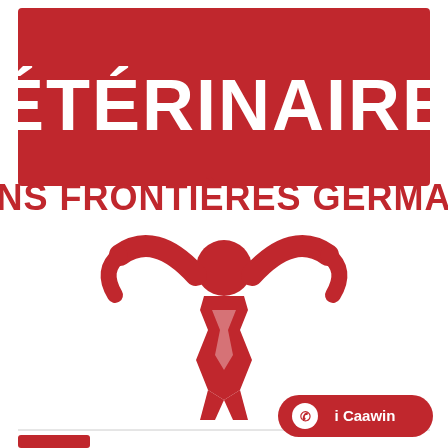[Figure (logo): Vétérinaires Sans Frontières Germany logo. Red rectangle banner with white bold text VÉTÉRINAIRES at top, below in red bold text SANS FRONTIÈRES GERMANY, and a red stylized figure of a person with arms raised wide (resembling a bull/human hybrid icon) in the center.]
[Figure (logo): WhatsApp button with text 'i Caawin' in red rounded pill shape at bottom right.]